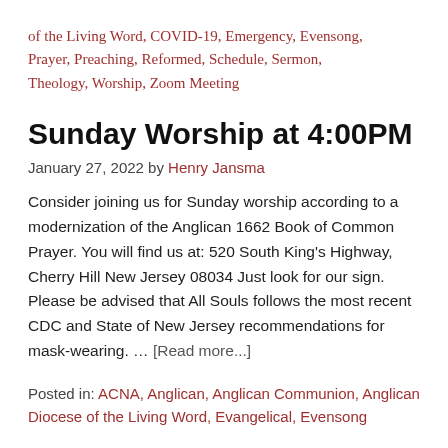of the Living Word, COVID-19, Emergency, Evensong, Prayer, Preaching, Reformed, Schedule, Sermon, Theology, Worship, Zoom Meeting
Sunday Worship at 4:00PM
January 27, 2022 by Henry Jansma
Consider joining us for Sunday worship according to a modernization of the Anglican 1662 Book of Common Prayer. You will find us at: 520 South King's Highway, Cherry Hill New Jersey 08034 Just look for our sign. Please be advised that All Souls follows the most recent CDC and State of New Jersey recommendations for mask-wearing. … [Read more...]
Posted in: ACNA, Anglican, Anglican Communion, Anglican Diocese of the Living Word, Evangelical, Evensong